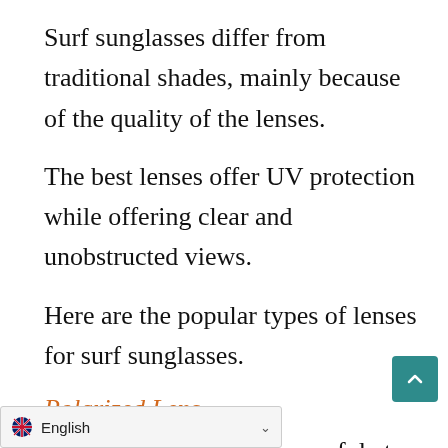Surf sunglasses differ from traditional shades, mainly because of the quality of the lenses.
The best lenses offer UV protection while offering clear and unobstructed views.
Here are the popular types of lenses for surf sunglasses.
Polarized Lens
The polarized lenses are useful at